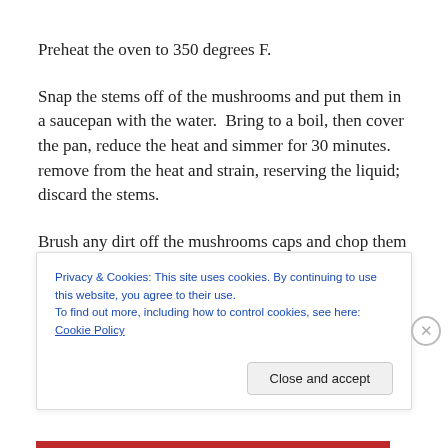Preheat the oven to 350 degrees F.
Snap the stems off of the mushrooms and put them in a saucepan with the water.  Bring to a boil, then cover the pan, reduce the heat and simmer for 30 minutes.  remove from the heat and strain, reserving the liquid; discard the stems.
Brush any dirt off the mushrooms caps and chop them into
Privacy & Cookies: This site uses cookies. By continuing to use this website, you agree to their use.
To find out more, including how to control cookies, see here: Cookie Policy
Close and accept